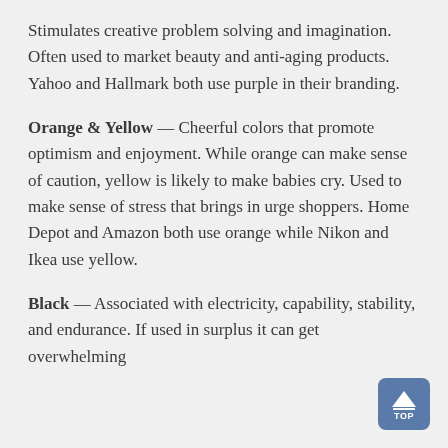Stimulates creative problem solving and imagination. Often used to market beauty and anti-aging products. Yahoo and Hallmark both use purple in their branding.
Orange & Yellow — Cheerful colors that promote optimism and enjoyment. While orange can make sense of caution, yellow is likely to make babies cry. Used to make sense of stress that brings in urge shoppers. Home Depot and Amazon both use orange while Nikon and Ikea use yellow.
Black — Associated with electricity, capability, stability, and endurance. If used in surplus it can get overwhelming